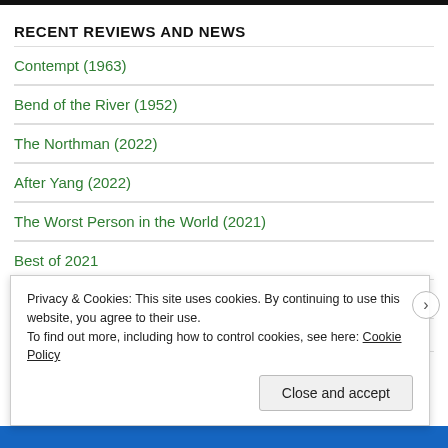RECENT REVIEWS AND NEWS
Contempt (1963)
Bend of the River (1952)
The Northman (2022)
After Yang (2022)
The Worst Person in the World (2021)
Best of 2021
Privacy & Cookies: This site uses cookies. By continuing to use this website, you agree to their use.
To find out more, including how to control cookies, see here: Cookie Policy
Close and accept